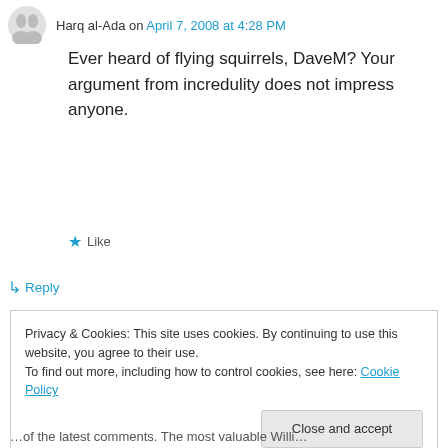Harq al-Ada on April 7, 2008 at 4:28 PM
Ever heard of flying squirrels, DaveM? Your argument from incredulity does not impress anyone.
★ Like
↳ Reply
[Figure (illustration): Pocket Casts ad banner: Your next favorite podcast is here.]
REPORT THIS AD
Privacy & Cookies: This site uses cookies. By continuing to use this website, you agree to their use.
To find out more, including how to control cookies, see here: Cookie Policy
Close and accept
...of the latest comments. The most valuable Willi...